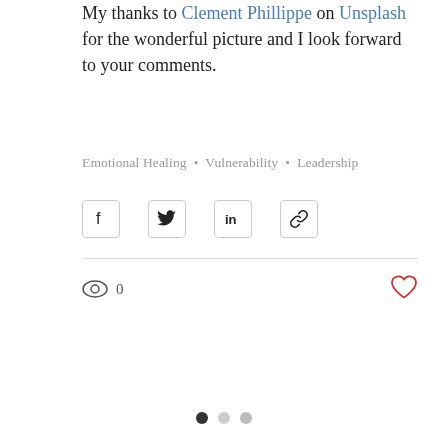My thanks to Clement Phillippe on Unsplash for the wonderful picture and I look forward to your comments.
Emotional Healing • Vulnerability • Leadership
[Figure (infographic): Social share buttons: Facebook, Twitter, LinkedIn, and link icons in bordered square buttons]
[Figure (infographic): Stats bar with eye/views icon showing 0 views and a heart (like) icon on the right]
[Figure (infographic): Pagination dots: three dots, first filled dark, second light gray, third lighter gray]